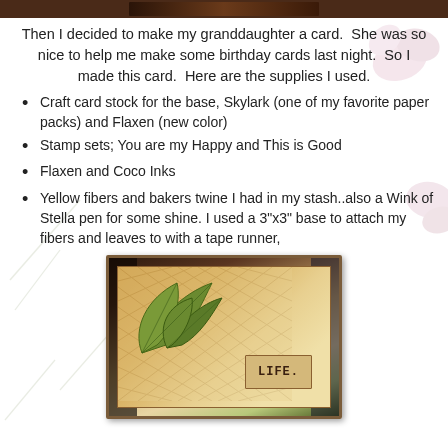[Figure (photo): A narrow horizontal dark photograph strip at the very top of the page, partially visible, showing a crafting scene.]
Then I decided to make my granddaughter a card.  She was so nice to help me make some birthday cards last night.  So I made this card.  Here are the supplies I used.
Craft card stock for the base, Skylark (one of my favorite paper packs) and Flaxen (new color)
Stamp sets; You are my Happy and This is Good
Flaxen and Coco Inks
Yellow fibers and bakers twine I had in my stash..also a Wink of Stella pen for some shine. I used a 3"x3" base to attach my fibers and leaves to with a tape runner,
[Figure (photo): A handmade greeting card displayed on a craft table. The card features large green autumn leaves on a cream lattice-patterned background with a brown cardstock base. A tag in the lower right reads 'LIFE.']